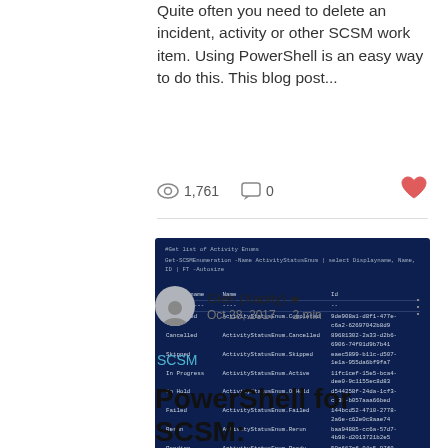Quite often you need to delete an incident, activity or other SCSM work item. Using PowerShell is an easy way to do this. This blog post...
1,761 views  0 comments  heart
[Figure (screenshot): PowerShell terminal screenshot showing Get-SCSMEnumeration command output for ActivityStatusEnum, listing Displayname, Name, and Id columns with values: Completed, Cancelled, Skipped, In Progress, On Hold, Failed, Rerun, Pending, Activity Status]
Glen (Xapity) Admin
Oct 28, 2017  ·  2 min
SCSM
PowerShell for SCSM: Activity Status - Skip,